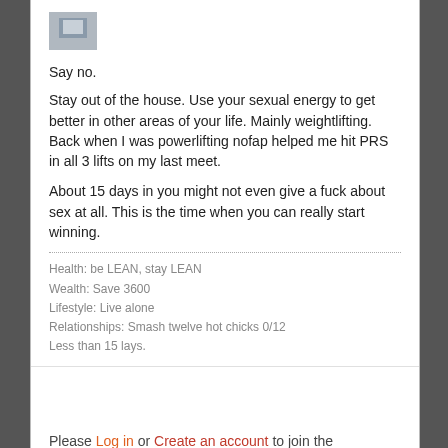[Figure (photo): Small avatar/profile image thumbnail at top of post]
Say no.
Stay out of the house. Use your sexual energy to get better in other areas of your life. Mainly weightlifting.
Back when I was powerlifting nofap helped me hit PRS in all 3 lifts on my last meet.
About 15 days in you might not even give a fuck about sex at all. This is the time when you can really start winning.
Health: be LEAN, stay LEAN
Wealth: Save 3600
Lifestyle: Live alone
Relationships: Smash twelve hot chicks 0/12
Less than 15 lays.
Please Log in or Create an account to join the conversation.
how to quit porn?  #242860
lre  Offline  Junior High Loser